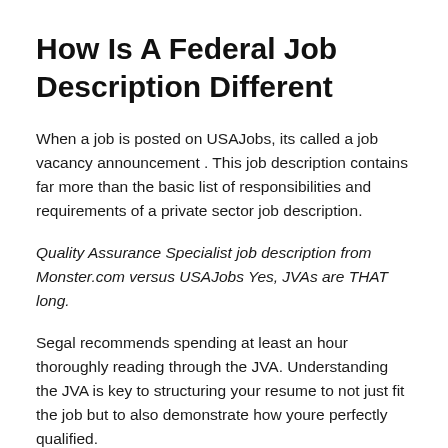How Is A Federal Job Description Different
When a job is posted on USAJobs, its called a job vacancy announcement . This job description contains far more than the basic list of responsibilities and requirements of a private sector job description.
Quality Assurance Specialist job description from Monster.com versus USAJobs Yes, JVAs are THAT long.
Segal recommends spending at least an hour thoroughly reading through the JVA. Understanding the JVA is key to structuring your resume to not just fit the job but to also demonstrate how youre perfectly qualified.